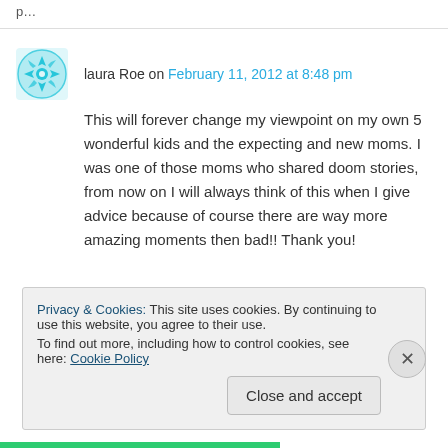laura Roe on February 11, 2012 at 8:48 pm
This will forever change my viewpoint on my own 5 wonderful kids and the expecting and new moms. I was one of those moms who shared doom stories, from now on I will always think of this when I give advice because of course there are way more amazing moments then bad!! Thank you!
Privacy & Cookies: This site uses cookies. By continuing to use this website, you agree to their use. To find out more, including how to control cookies, see here: Cookie Policy
Close and accept